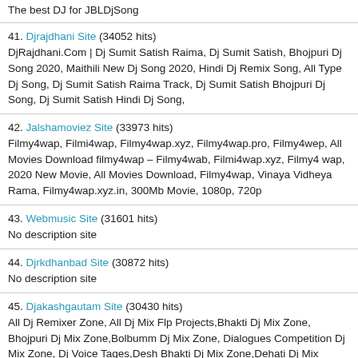The best DJ for JBLDjSong
41. Djrajdhani Site (34052 hits)
DjRajdhani.Com | Dj Sumit Satish Raima, Dj Sumit Satish, Bhojpuri Dj Song 2020, Maithili New Dj Song 2020, Hindi Dj Remix Song, All Type Dj Song, Dj Sumit Satish Raima Track, Dj Sumit Satish Bhojpuri Dj Song, Dj Sumit Satish Hindi Dj Song,
42. Jalshamoviez Site (33973 hits)
Filmy4wap, Filmi4wap, Filmy4wap.xyz, Filmy4wap.pro, Filmy4wep, All Movies Download filmy4wap – Filmy4wab, Filmi4wap.xyz, Filmy4 wap, 2020 New Movie, All Movies Download, Filmy4wap, Vinaya Vidheya Rama, Filmy4wap.xyz.in, 300Mb Movie, 1080p, 720p
43. Webmusic Site (31601 hits)
No description site
44. Djrkdhanbad Site (30872 hits)
No description site
45. Djakashgautam Site (30430 hits)
All Dj Remixer Zone, All Dj Mix Flp Projects,Bhakti Dj Mix Zone, Bhojpuri Dj Mix Zone,Bolbumm Dj Mix Zone, Dialogues Competition Dj Mix Zone, Dj Voice Tages,Desh Bhakti Dj Mix Zone,Dehati Dj Mix Zone,Dj Akash Zip Files,Fl Studio Full Pack, Dj Akash Gautam...